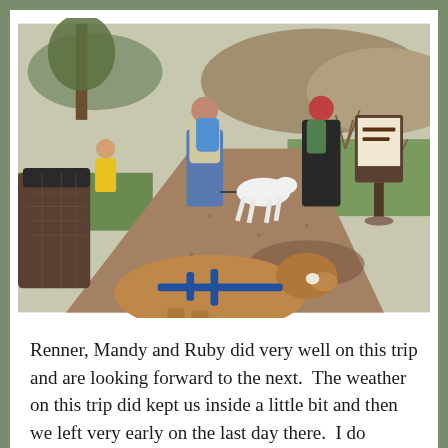[Figure (photo): Outdoor trail scene with two people and two dogs on a reddish gravel path. One person wears blue jeans and carries a blue backpack with a white dog on a leash. Another person in a dark jacket with red hood and green backpack stands near a trail sign/kiosk. A child in a yellow jacket is visible to the left. A trash can is in the foreground left. In the foreground bottom, a brown dog with a blue harness looks toward the other dog. Bare shrubs and green grass border the path.]
Renner, Mandy and Ruby did very well on this trip and are looking forward to the next.  The weather on this trip did kept us inside a little bit and then we left very early on the last day there.  I do believe Mandy was anxious to get